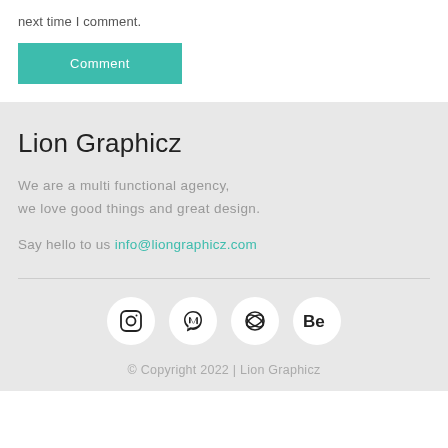next time I comment.
Comment
Lion Graphicz
We are a multi functional agency, we love good things and great design.
Say hello to us info@liongraphicz.com
[Figure (other): Four social media icon circles: Instagram, Yelp, Dribbble, Behance]
© Copyright 2022 | Lion Graphicz